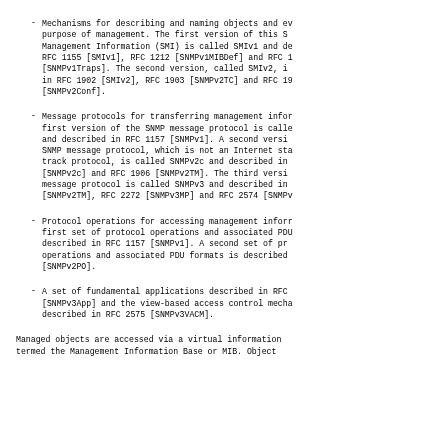Mechanisms for describing and naming objects and events for the purpose of management. The first version of this Structure of Management Information (SMI) is called SMIv1 and described in RFC 1155 [SMIv1], RFC 1212 [SNMPv1MIBDef] and RFC 1215 [SNMPv1Traps]. The second version, called SMIv2, is described in RFC 1902 [SMIv2], RFC 1903 [SNMPv2TC] and RFC 1904 [SNMPv2Conf].
Message protocols for transferring management information. The first version of the SNMP message protocol is called SNMPv1 and described in RFC 1157 [SNMPv1]. A second version of the SNMP message protocol, which is not an Internet standards track protocol, is called SNMPv2c and described in RFC 1901 [SNMPv2c] and RFC 1906 [SNMPv2TM]. The third version of the message protocol is called SNMPv3 and described in RFC 1906 [SNMPv2TM], RFC 2272 [SNMPv3MP] and RFC 2574 [SNMPv3USM].
Protocol operations for accessing management information. The first set of protocol operations and associated PDU formats is described in RFC 1157 [SNMPv1]. A second set of protocol operations and associated PDU formats is described in RFC 2321 [SNMPv2PO].
A set of fundamental applications described in RFC 2273 [SNMPv3App] and the view-based access control mechanism described in RFC 2575 [SNMPv3VACM].
Managed objects are accessed via a virtual information store, termed the Management Information Base or MIB. Objects